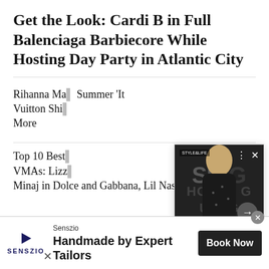Get the Look: Cardi B in Full Balenciaga Barbiecore While Hosting Day Party in Atlantic City
Rihanna Ma... Summer 'It... Vuitton Shi... More
Top 10 Best VMAs: Lizz... Minaj in Dolce and Gabbana, Lil Nas X in
[Figure (photo): Popup card showing a woman in a black dress at a House of G event, with caption '6 Life Lessons We CanAllLearn FromSavannahJames- 21Nin...']
6 Life Lessons We CanAllLearn FromSavannahJames- 21Nin...
Senszio
Handmade by Expert Tailors
Book Now